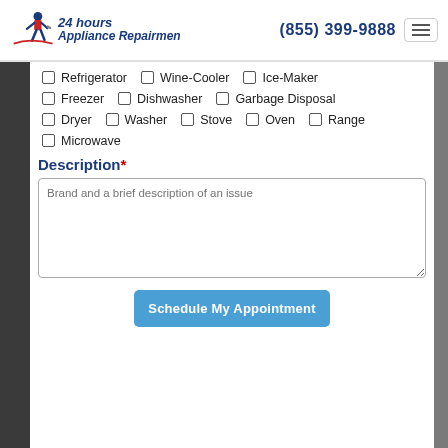24 hours Appliance Repairmen | (855) 399-9888
Refrigerator  Wine-Cooler  Ice-Maker
Freezer  Dishwasher  Garbage Disposal
Dryer  Washer  Stove  Oven  Range
Microwave
Description*
Brand and a brief description of an issue
Schedule My Appointment